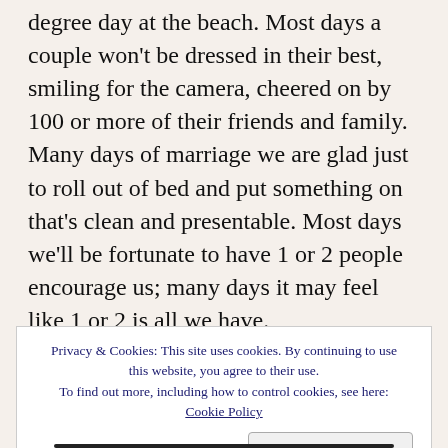degree day at the beach. Most days a couple won't be dressed in their best, smiling for the camera, cheered on by 100 or more of their friends and family. Many days of marriage we are glad just to roll out of bed and put something on that's clean and presentable. Most days we'll be fortunate to have 1 or 2 people encourage us; many days it may feel like 1 or 2 is all we have.
So, a bad-weather wedding day is not what any b... s...
Privacy & Cookies: This site uses cookies. By continuing to use this website, you agree to their use.
To find out more, including how to control cookies, see here:
Cookie Policy
Close and accept